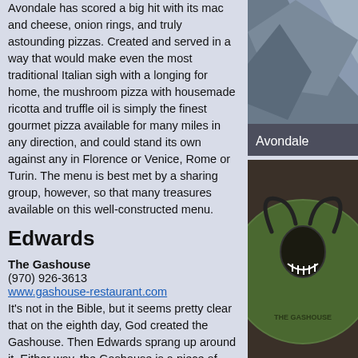Avondale has scored a big hit with its mac and cheese, onion rings, and truly astounding pizzas. Created and served in a way that would make even the most traditional Italian sigh with a longing for home, the mushroom pizza with housemade ricotta and truffle oil is simply the finest gourmet pizza available for many miles in any direction, and could stand its own against any in Florence or Venice, Rome or Turin. The menu is best met by a sharing group, however, so that many treasures available on this well-constructed menu.
[Figure (photo): Photo of Avondale restaurant with label 'Avondale']
Edwards
The Gashouse
(970) 926-3613
www.gashouse-restaurant.com
It's not in the Bible, but it seems pretty clear that on the eighth day, God created the Gashouse. Then Edwards sprang up around it. Either way, the Gashouse is a piece of living history, an oasis of Western ranching spirit that predates the bustling town which surrounds it. Placed on the edge of a pristine slice of Eagle River Preserve open space, the Gashouse deck is one of those places people come from far, far away to experience. This is a very family-friendly place to visit, and with cold beer and good margaritas, the taxi ride to and from is most definitely worth it. Big Rocky Mountain cuisine is what sets the Gashouse apart. It's possible to have a wonderful, light meal there, but lunch plans are often swayed by the aromas of the surf-and-turf special, which are known to waft quite effectively across the patio and change a person's mind. Also top-contenders are the famous fried chicken, chili, slow-cooked salmon, and...
[Figure (logo): The Gashouse logo — green circle with bull horns graphic]